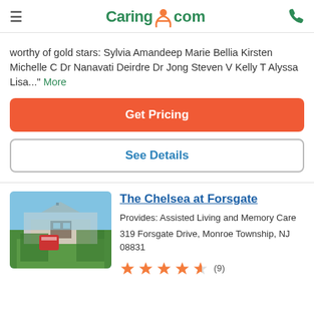Caring.com
worthy of gold stars: Sylvia Amandeep Marie Bellia Kirsten Michelle C Dr Nanavati Deirdre Dr Jong Steven V Kelly T Alyssa Lisa..." More
Get Pricing
See Details
The Chelsea at Forsgate
Provides: Assisted Living and Memory Care
319 Forsgate Drive, Monroe Township, NJ 08831
[Figure (photo): Photo of The Chelsea at Forsgate building exterior with trees and a sign]
★★★★½ (9)